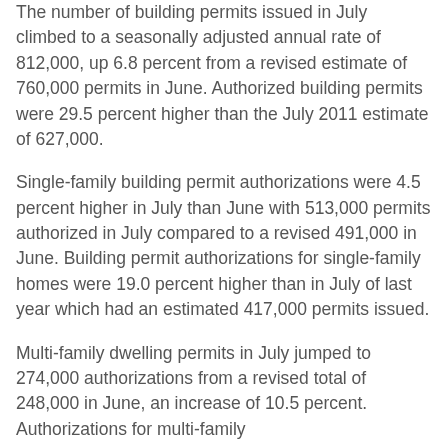The number of building permits issued in July climbed to a seasonally adjusted annual rate of 812,000, up 6.8 percent from a revised estimate of 760,000 permits in June. Authorized building permits were 29.5 percent higher than the July 2011 estimate of 627,000.
Single-family building permit authorizations were 4.5 percent higher in July than June with 513,000 permits authorized in July compared to a revised 491,000 in June. Building permit authorizations for single-family homes were 19.0 percent higher than in July of last year which had an estimated 417,000 permits issued.
Multi-family dwelling permits in July jumped to 274,000 authorizations from a revised total of 248,000 in June, an increase of 10.5 percent. Authorizations for multi-family